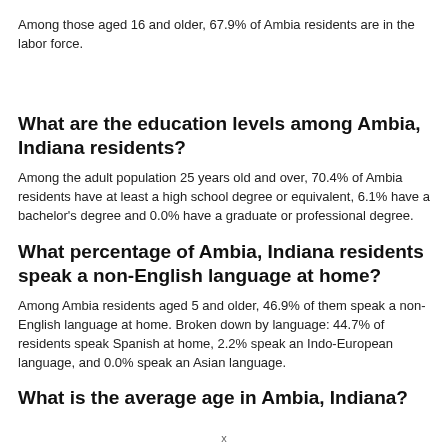Among those aged 16 and older, 67.9% of Ambia residents are in the labor force.
What are the education levels among Ambia, Indiana residents?
Among the adult population 25 years old and over, 70.4% of Ambia residents have at least a high school degree or equivalent, 6.1% have a bachelor's degree and 0.0% have a graduate or professional degree.
What percentage of Ambia, Indiana residents speak a non-English language at home?
Among Ambia residents aged 5 and older, 46.9% of them speak a non-English language at home. Broken down by language: 44.7% of residents speak Spanish at home, 2.2% speak an Indo-European language, and 0.0% speak an Asian language.
What is the average age in Ambia, Indiana?
x